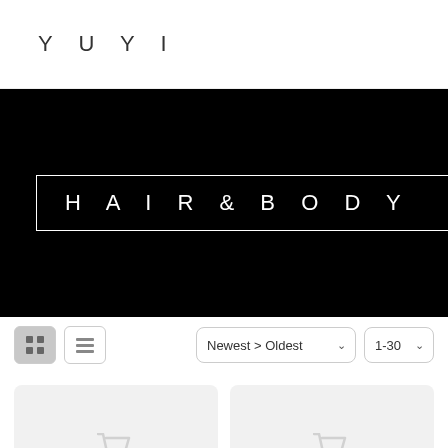YUYI
[Figure (screenshot): Black banner with white bordered box containing the text HAIR & BODY CARE in white spaced letters on black background]
[Figure (screenshot): Product listing controls: grid view button (active), list view button, sort dropdown (Newest > Oldest), per-page dropdown (1-30)]
[Figure (screenshot): Two product card placeholders with light gray background and faint cart icons, beginning of product grid]